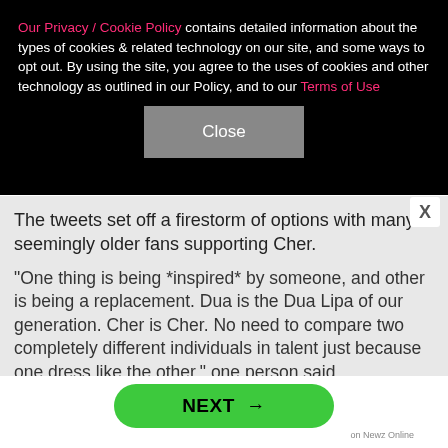Our Privacy / Cookie Policy contains detailed information about the types of cookies & related technology on our site, and some ways to opt out. By using the site, you agree to the uses of cookies and other technology as outlined in our Policy, and to our Terms of Use
Close
The tweets set off a firestorm of options with many seemingly older fans supporting Cher.
"One thing is being *inspired* by someone, and other is being a replacement. Dua is the Dua Lipa of our generation. Cher is Cher. No need to compare two completely different individuals in talent just because one dress like the other," one person said.
NEXT →
on Newz Online